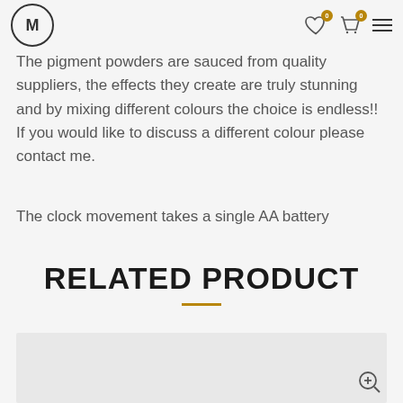M logo, wishlist icon (0), cart icon (0), hamburger menu
The pigment powders are sauced from quality suppliers, the effects they create are truly stunning and by mixing different colours the choice is endless!! If you would like to discuss a different colour please contact me.
The clock movement takes a single AA battery
RELATED PRODUCT
[Figure (photo): Product image placeholder area with zoom icon]